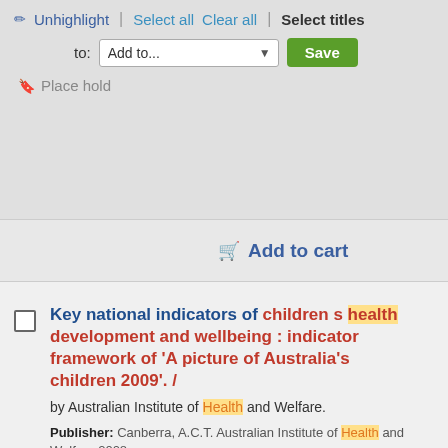Unhighlight | Select all  Clear all | Select titles
to: Add to...  Save
▮ Place hold
Add to cart
Key national indicators of children s health development and wellbeing : indicator framework of 'A picture of Australia's children 2009'. /
by Australian Institute of Health and Welfare.
Publisher: Canberra, A.C.T. Australian Institute of Health and Welfare 2008
Description: PDF.
Notes: URL:
'http://www.aihw.gov.au/publications/aus/bulletin58/bulletin58.p
Checked: 6/10/2008 10:49:49 AM Status: Live Details: HTTP statu
200 - Usual success response Family & early years
Availability: Items available for loan: Brotherhood of St Laurenc